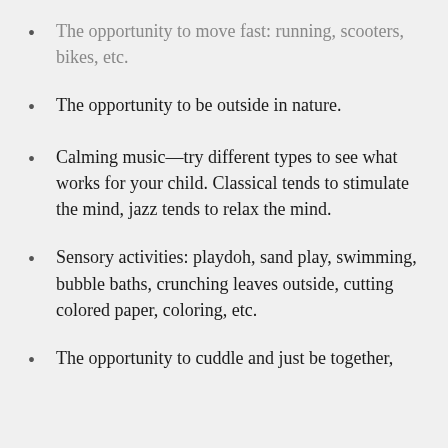The opportunity to move fast: running, scooters, bikes, etc.
The opportunity to be outside in nature.
Calming music—try different types to see what works for your child. Classical tends to stimulate the mind, jazz tends to relax the mind.
Sensory activities: playdoh, sand play, swimming, bubble baths, crunching leaves outside, cutting colored paper, coloring, etc.
The opportunity to cuddle and just be together,